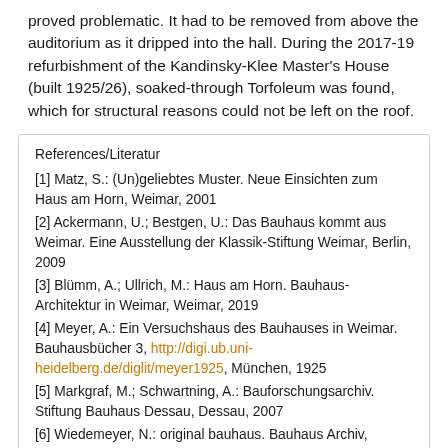proved problematic. It had to be removed from above the auditorium as it dripped into the hall. During the 2017-19 refurbishment of the Kandinsky-Klee Master's House (built 1925/26), soaked-through Torfoleum was found, which for structural reasons could not be left on the roof.
References/Literatur
[1] Matz, S.: (Un)geliebtes Muster. Neue Einsichten zum Haus am Horn, Weimar, 2001
[2] Ackermann, U.; Bestgen, U.: Das Bauhaus kommt aus Weimar. Eine Ausstellung der Klassik-Stiftung Weimar, Berlin, 2009
[3] Blümm, A.; Ullrich, M.: Haus am Horn. Bauhaus-Architektur in Weimar, Weimar, 2019
[4] Meyer, A.: Ein Versuchshaus des Bauhauses in Weimar. Bauhausbücher 3, http://digi.ub.uni-heidelberg.de/diglit/meyer1925, München, 1925
[5] Markgraf, M.; Schwartning, A.: Bauforschungsarchiv. Stiftung Bauhaus Dessau, Dessau, 2007
[6] Wiedemeyer, N.: original bauhaus. Bauhaus Archiv, Museum für Gestaltung, Berlin, 2019.
[7] Scheffler, T.: 730 restaurierte Zeichnungen des Architekten Johannes Koppe. Bauwelt 25.2019, Dresden,